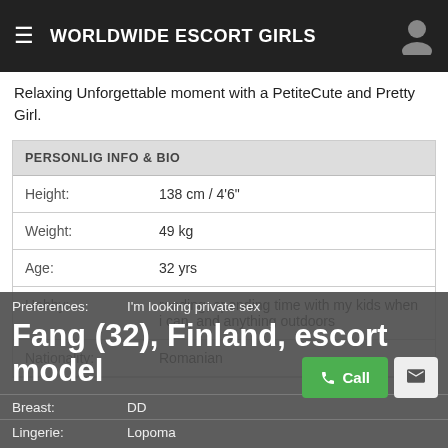WORLDWIDE ESCORT GIRLS
Relaxing Unforgettable moment with a PetiteCute and Pretty Girl.
| PERSONLIG INFO & BIO |  |
| --- | --- |
| Height: | 138 cm / 4'6" |
| Weight: | 49 kg |
| Age: | 32 yrs |
| Hobby: | reading, spending time with my kids when i can, and anything outdoors |
| Nationality: | Romanian |
| Preferences: | I'm looking private sex |
| Breast: | DD |
| Lingerie: | Lopoma |
Fang (32), Finland, escort model